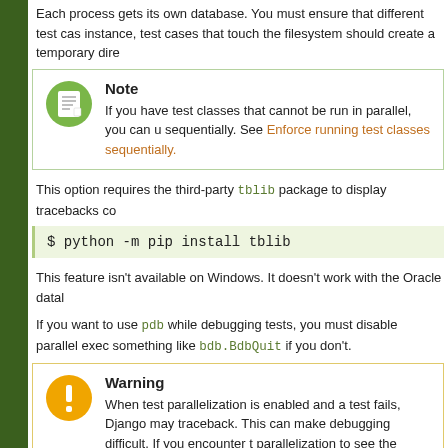Each process gets its own database. You must ensure that different test cases instance, test cases that touch the filesystem should create a temporary dire
Note
If you have test classes that cannot be run in parallel, you can u sequentially. See Enforce running test classes sequentially.
This option requires the third-party tblib package to display tracebacks co
$ python -m pip install tblib
This feature isn't available on Windows. It doesn't work with the Oracle data
If you want to use pdb while debugging tests, you must disable parallel exec something like bdb.BdbQuit if you don't.
Warning
When test parallelization is enabled and a test fails, Django may traceback. This can make debugging difficult. If you encounter t parallelization to see the traceback of the failure.
This is a known limitation. It arises from the need to serialize ob processes. See What can be pickled and unpickled? for details.